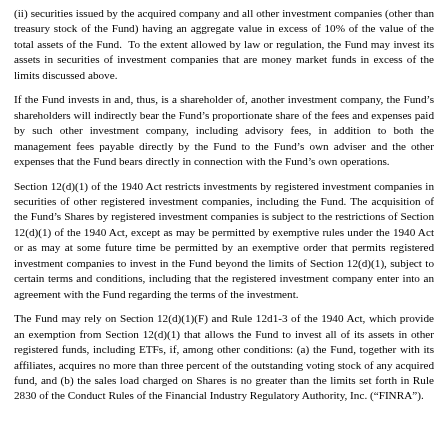(ii) securities issued by the acquired company and all other investment companies (other than treasury stock of the Fund) having an aggregate value in excess of 10% of the value of the total assets of the Fund.  To the extent allowed by law or regulation, the Fund may invest its assets in securities of investment companies that are money market funds in excess of the limits discussed above.
If the Fund invests in and, thus, is a shareholder of, another investment company, the Fund's shareholders will indirectly bear the Fund's proportionate share of the fees and expenses paid by such other investment company, including advisory fees, in addition to both the management fees payable directly by the Fund to the Fund's own adviser and the other expenses that the Fund bears directly in connection with the Fund's own operations.
Section 12(d)(1) of the 1940 Act restricts investments by registered investment companies in securities of other registered investment companies, including the Fund. The acquisition of the Fund's Shares by registered investment companies is subject to the restrictions of Section 12(d)(1) of the 1940 Act, except as may be permitted by exemptive rules under the 1940 Act or as may at some future time be permitted by an exemptive order that permits registered investment companies to invest in the Fund beyond the limits of Section 12(d)(1), subject to certain terms and conditions, including that the registered investment company enter into an agreement with the Fund regarding the terms of the investment.
The Fund may rely on Section 12(d)(1)(F) and Rule 12d1-3 of the 1940 Act, which provide an exemption from Section 12(d)(1) that allows the Fund to invest all of its assets in other registered funds, including ETFs, if, among other conditions: (a) the Fund, together with its affiliates, acquires no more than three percent of the outstanding voting stock of any acquired fund, and (b) the sales load charged on Shares is no greater than the limits set forth in Rule 2830 of the Conduct Rules of the Financial Industry Regulatory Authority, Inc. ("FINRA").